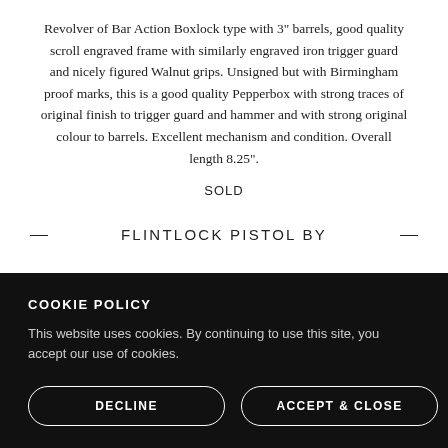Revolver of Bar Action Boxlock type with 3" barrels, good quality scroll engraved frame with similarly engraved iron trigger guard and nicely figured Walnut grips. Unsigned but with Birmingham proof marks, this is a good quality Pepperbox with strong traces of original finish to trigger guard and hammer and with strong original colour to barrels. Excellent mechanism and condition. Overall length 8.25".
SOLD
FLINTLOCK PISTOL BY
COOKIE POLICY
This website uses cookies. By continuing to use this site, you accept our use of cookies.
DECLINE
ACCEPT & CLOSE